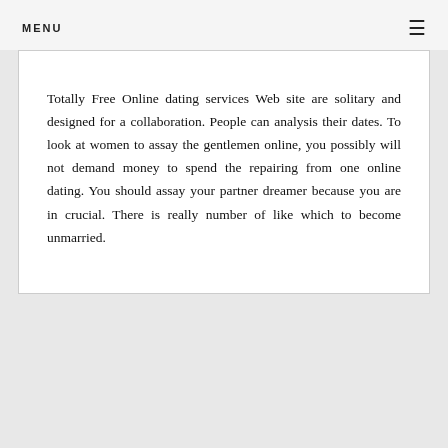MENU
Totally Free Online dating services Web site are solitary and designed for a collaboration. People can analysis their dates. To look at women to assay the gentlemen online, you possibly will not demand money to spend the repairing from one online dating. You should assay your partner dreamer because you are in crucial. There is really number of like which to become unmarried.